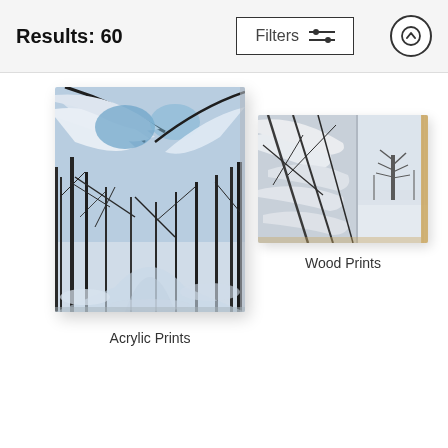Results: 60
[Figure (screenshot): Filters button with slider icon and up-arrow circle button]
[Figure (photo): Acrylic print of snowy winter forest path with blue-tinted trees arching overhead, showing thick canvas wrap edge]
Acrylic Prints
[Figure (photo): Wood print of snow-covered branches in foreground with misty winter tree in background, wooden edge visible on right side]
Wood Prints
[Figure (photo): Partial view of a third product at the bottom right corner, appears to be a round/circular print on a stand]